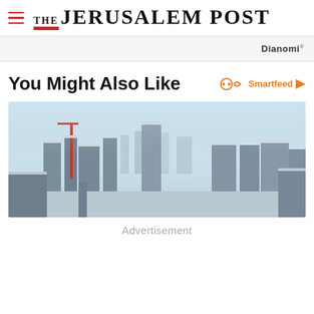THE JERUSALEM POST
Dianomi
You Might Also Like
Smartfeed
[Figure (photo): Aerial panoramic view of a city covered in snow, showing urban buildings, streets and a hazy sky in the background]
Advertisement